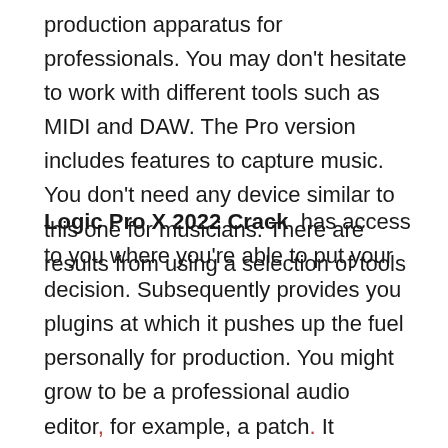production apparatus for professionals. You may don't hesitate to work with different tools such as MIDI and DAW. The Pro version includes features to capture music. You don't need any device similar to this one for musicians. There are results from using a selection of tools
Logic Pro X 2022 Crack has access to you where you're able to put your decision. Subsequently provides you plugins at which it pushes up the fuel personally for production. You might grow to be a professional audio editor, for example, a patch. It enables one to load your complex and quick multi-channel sound. Therefore, you have to restrain the tweaking process. Here, edit everything to eliminate the variant of the program that